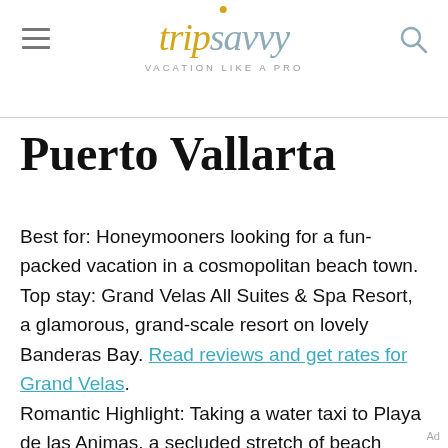tripsavvy VACATION LIKE A PRO
Puerto Vallarta
Best for: Honeymooners looking for a fun-packed vacation in a cosmopolitan beach town. Top stay: Grand Velas All Suites & Spa Resort, a glamorous, grand-scale resort on lovely Banderas Bay. Read reviews and get rates for Grand Velas. Romantic Highlight: Taking a water taxi to Playa de las Animas, a secluded stretch of beach south of Puerto Vallarta, and feasting on fresh seafood from the